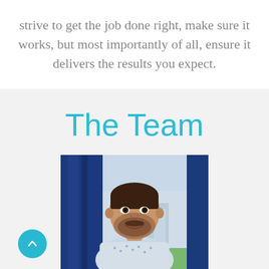strive to get the job done right, make sure it works, but most importantly of all, ensure it delivers the results you expect.
The Team
[Figure (photo): Professional headshot of a bearded man in a blue and white patterned shirt, smiling, with blue curtains and a city skyline visible in the background.]